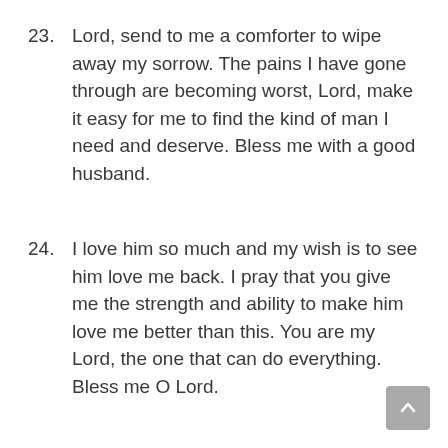23. Lord, send to me a comforter to wipe away my sorrow. The pains I have gone through are becoming worst, Lord, make it easy for me to find the kind of man I need and deserve. Bless me with a good husband.
24. I love him so much and my wish is to see him love me back. I pray that you give me the strength and ability to make him love me better than this. You are my Lord, the one that can do everything. Bless me O Lord.